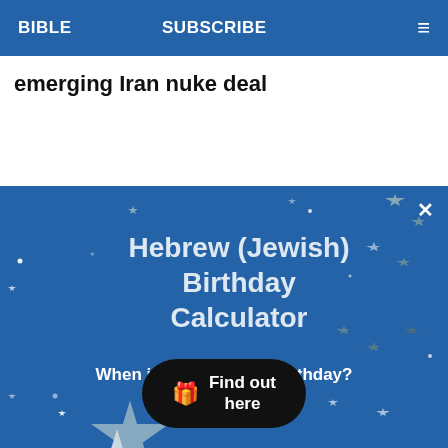BIBLE   SUBSCRIBE   ≡
emerging Iran nuke deal
[Figure (infographic): Advertisement banner for Hebrew (Jewish) Birthday Calculator with blue background, decorative stars, title 'Hebrew (Jewish) Birthday Calculator', subtitle 'When is your Hebrew Birthday?', and a black 'Find out here' button with gift icon. Close button (×) in top-right corner.]